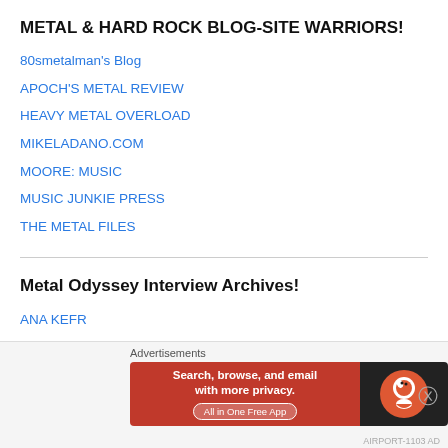METAL & HARD ROCK BLOG-SITE WARRIORS!
80smetalman's Blog
APOCH'S METAL REVIEW
HEAVY METAL OVERLOAD
MIKELADANO.COM
MOORE: MUSIC
MUSIC JUNKIE PRESS
THE METAL FILES
Metal Odyssey Interview Archives!
ANA KEFR
BEAK – JASON GOLDBERG
BiG DAD RITCH – Texas Hippie Coalition
CRYSTAL VIPER – Marta Gabriel
Advertisements
[Figure (other): DuckDuckGo advertisement banner: orange background with text 'Search, browse, and email with more privacy. All in One Free App' and DuckDuckGo logo on dark background]